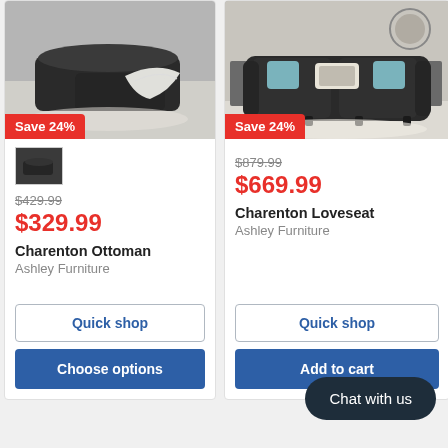[Figure (photo): Charenton Ottoman dark charcoal upholstered ottoman with white throw blanket, shown in living room setting]
Save 24%
[Figure (photo): Small thumbnail of Charenton Ottoman]
$429.99
$329.99
Charenton Ottoman
Ashley Furniture
Quick shop
Choose options
[Figure (photo): Charenton Loveseat dark charcoal sofa with teal and patterned throw pillows, shown in living room setting]
Save 24%
$879.99
$669.99
Charenton Loveseat
Ashley Furniture
Quick shop
Add to cart
Chat with us